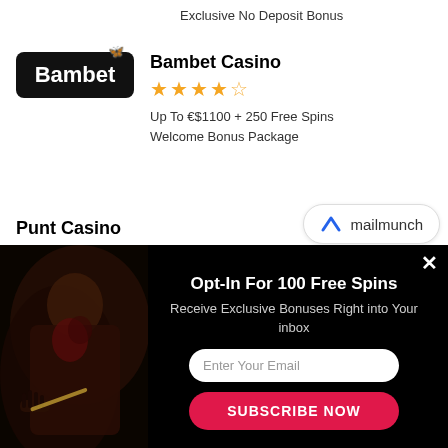Exclusive No Deposit Bonus
Bambet Casino
[Figure (logo): Bambet Casino logo — black rectangle with white bold text 'Bambet' and butterfly antennae icon]
Up To €$1100 + 250 Free Spins Welcome Bonus Package
Punt Casino
[Figure (logo): Mailmunch logo badge — blue M icon with text 'mailmunch' in rounded pill badge]
[Figure (screenshot): Dark popup overlay with horror-themed image on left. Right side shows opt-in form: title 'Opt-In For 100 Free Spins', subtitle 'Receive Exclusive Bonuses Right into Your inbox', email input field 'Enter Your Email', and red 'SUBSCRIBE NOW' button. Close X in top right.]